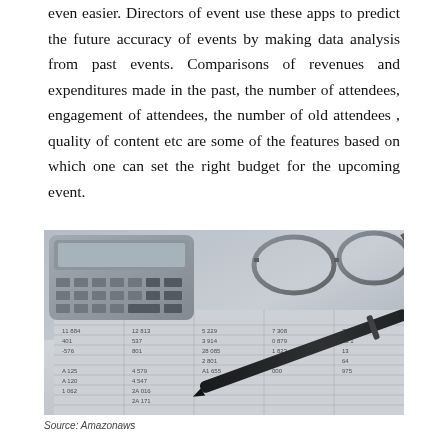even easier. Directors of event use these apps to predict the future accuracy of events by making data analysis from past events. Comparisons of revenues and expenditures made in the past, the number of attendees, engagement of attendees, the number of old attendees , quality of content etc are some of the features based on which one can set the right budget for the upcoming event.
[Figure (photo): Black and white photo of a calculator, glasses, pen, and financial spreadsheet documents with numbers visible.]
Source: Amazonaws